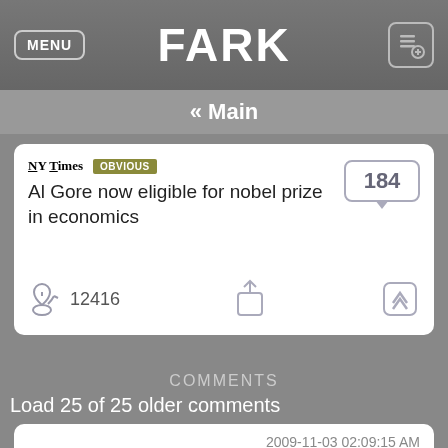FARK
« Main
Al Gore now eligible for nobel prize in economics
12416
COMMENTS
Load 25 of 25 older comments
relcec  2009-11-03 02:09:15 AM
Gr8fulDude: Don't cry republicans! I'm sure if there was a